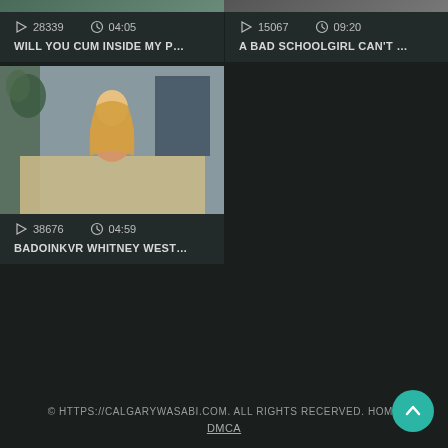[Figure (screenshot): Video thumbnail top-left, partial, dark green/nature background]
28339   04:05
WILL YOU CUM INSIDE MY P...
[Figure (screenshot): Video thumbnail top-right, dark with text overlay MZAISHILLZ]
15067   09:20
A BAD SCHOOLGIRL CAN'T ...
[Figure (photo): Video thumbnail of blonde woman in bedroom setting]
38676   04:59
BADOINKVR WHITNEY WEST...
© HTTPS://CALGARYWASABI.COM. ALL RIGHTS RECERVED. HOME
DMCA